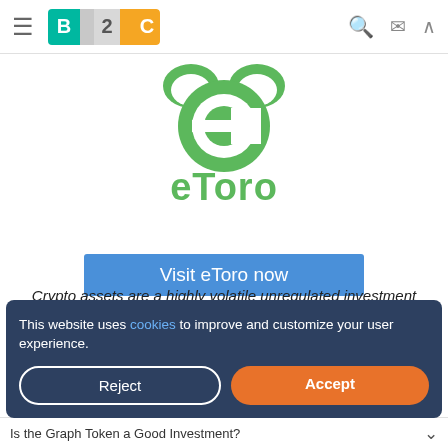B2C [navigation logo with hamburger menu, search, mail, and up icons]
[Figure (logo): eToro logo: green stylized 'e' icon with green bull horns on top, and green 'eToro' wordmark below]
[Figure (other): Blue button reading 'Visit eToro now']
Crypto assets are a highly volatile unregulated investment product.
This website uses cookies to improve and customize your user experience.
Is the Graph Token a Good Investment?